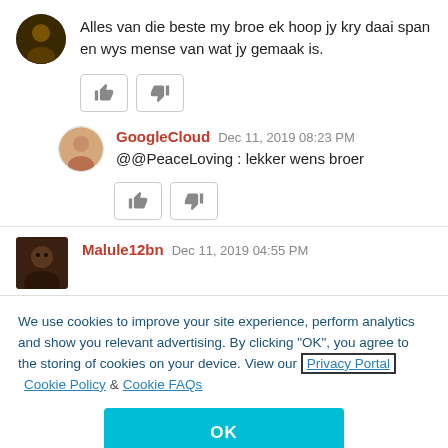Alles van die beste my broe ek hoop jy kry daai span en wys mense van wat jy gemaak is.
GoogleCloud  Dec 11, 2019 08:23 PM
@@PeaceLoving : lekker wens broer
Malule12bn  Dec 11, 2019 04:55 PM
We use cookies to improve your site experience, perform analytics and show you relevant advertising. By clicking "OK", you agree to the storing of cookies on your device. View our Privacy Portal Cookie Policy & Cookie FAQs